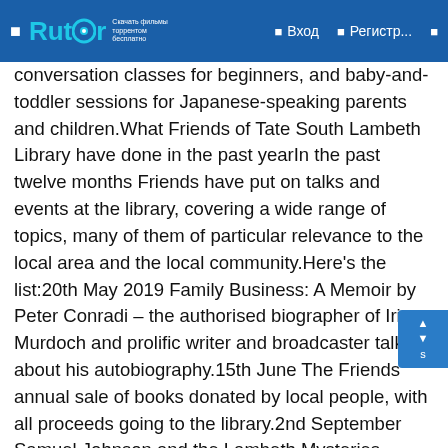Rutor — Вход — Регистр...
conversation classes for beginners, and baby-and-toddler sessions for Japanese-speaking parents and children.What Friends of Tate South Lambeth Library have done in the past yearIn the past twelve months Friends have put on talks and events at the library, covering a wide range of topics, many of them of particular relevance to the local area and the local community.Here's the list:20th May 2019 Family Business: A Memoir by Peter Conradi – the authorised biographer of Iris Murdoch and prolific writer and broadcaster talked about his autobiography.15th June The Friends annual sale of books donated by local people, with all proceeds going to the library.2nd September Samuel Johnson and the Lambeth Mysteries – Ross Davies from vauxhallhistory.org traced Samuel Johnson's connections with Lambeth. The talk was preceded by a guided walk led by David E. Coke through the site of Vauxhall Gardens.2nd October The Age of Stupid – A screening of the famous documentary in partnership with the No Planet B Film Club.23rd October Vauxhall Tide: Conversations and Creativity Local residents presented and talked about the banner they had created reflecting their lives and histories (The